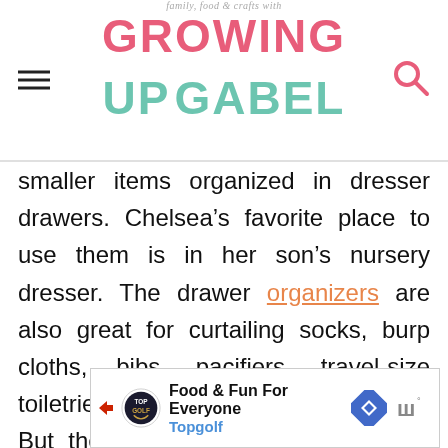family, food & crafts with GROWING UP GABEL
smaller items organized in dresser drawers. Chelsea’s favorite place to use them is in her son’s nursery dresser. The drawer organizers are also great for curtailing socks, burp cloths, bibs, pacifiers, travel-size toiletries, baby accessories, and more. But they aren’t limited to only baby items. They also fold to save space when not in use, making them an organizational must have. You can purchase a 12 pack set of drawer organizers here!
[Figure (other): Advertisement banner for Topgolf - Food & Fun For Everyone]